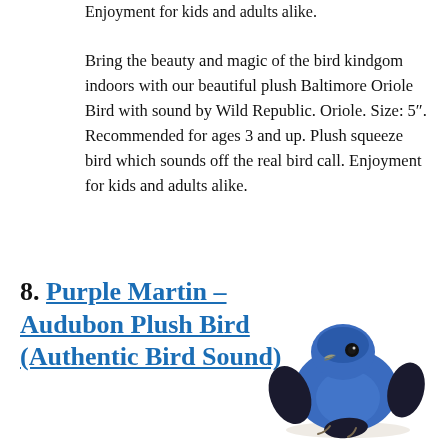Enjoyment for kids and adults alike.
Bring the beauty and magic of the bird kindgom indoors with our beautiful plush Baltimore Oriole Bird with sound by Wild Republic. Oriole. Size: 5". Recommended for ages 3 and up. Plush squeeze bird which sounds off the real bird call. Enjoyment for kids and adults alike.
8. Purple Martin – Audubon Plush Bird (Authentic Bird Sound)
[Figure (photo): A blue and black plush stuffed bird toy resembling a Purple Martin, sitting on a white background.]